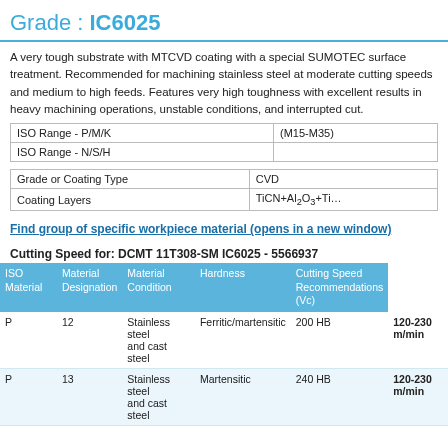Grade : IC6025
A very tough substrate with MTCVD coating with a special SUMOTEC surface treatment. Recommended for machining stainless steel at moderate cutting speeds and medium to high feeds. Features very high toughness with excellent results in heavy machining operations, unstable conditions, and interrupted cut.
|  |  |
| --- | --- |
| ISO Range - P/M/K | (M15-M35) |
| ISO Range - N/S/H |  |
|  |  |
| --- | --- |
| Grade or Coating Type | CVD |
| Coating Layers | TiCN+Al₂O₃+Ti… |
Find group of specific workpiece material (opens in a new window)
Cutting Speed for: DCMT 11T308-SM IC6025 - 5566937
| ISO Material | Material Designation | Material Condition | Hardness | Cutting Speed Recommendations (Vc) |
| --- | --- | --- | --- | --- |
| P | 12 | Stainless steel and cast steel | Ferritic/martensitic | 200 HB | 120-230 m/min |
| P | 13 | Stainless steel and cast steel | Martensitic | 240 HB | 120-230 m/min |